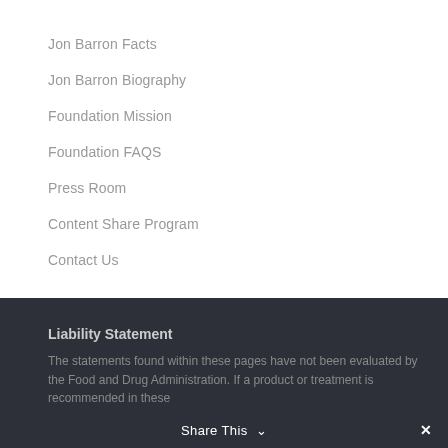Jon Barron Facts
Jon Barron Biography
Foundation Mission
Foundation FAQS
Press Room
Content Share Program
Contact Us
Liability Statement
The statements found within these pages have not been evaluated by the Food and Drug Administration. If a product or treatment is recommended in these
Share This ∨  ✕